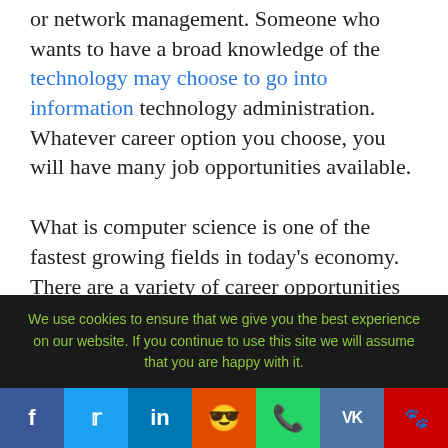or network management. Someone who wants to have a broad knowledge of the technology may choose to go into information technology administration. Whatever career option you choose, you will have many job opportunities available.
What is computer science is one of the fastest growing fields in today's economy. There are a variety of career opportunities in this growing field. Some of these opportunities include
We use cookies to ensure that we give you the best experience on our website. If you continue to use this site we will assume that you are happy with it.
[Figure (other): Social sharing buttons row: Facebook, Twitter, LinkedIn, Reddit, WhatsApp, VK, Baidu]